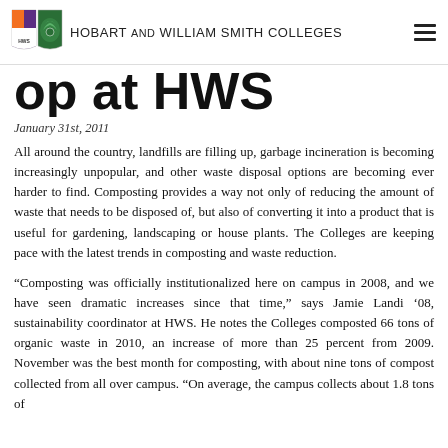HOBART AND WILLIAM SMITH COLLEGES
op at HWS
January 31st, 2011
All around the country, landfills are filling up, garbage incineration is becoming increasingly unpopular, and other waste disposal options are becoming ever harder to find. Composting provides a way not only of reducing the amount of waste that needs to be disposed of, but also of converting it into a product that is useful for gardening, landscaping or house plants. The Colleges are keeping pace with the latest trends in composting and waste reduction.
“Composting was officially institutionalized here on campus in 2008, and we have seen dramatic increases since that time,” says Jamie Landi ’08, sustainability coordinator at HWS. He notes the Colleges composted 66 tons of organic waste in 2010, an increase of more than 25 percent from 2009. November was the best month for composting, with about nine tons of compost collected from all over campus. “On average, the campus collects about 1.8 tons of